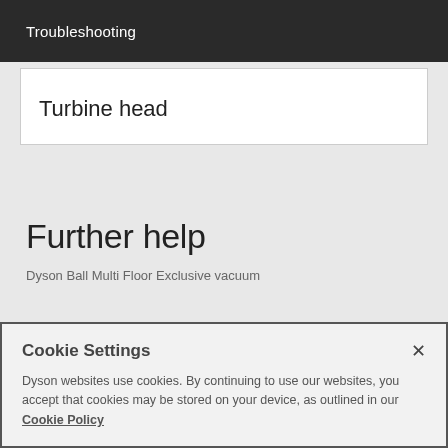Troubleshooting
| Turbine head |
Further help
Dyson Ball Multi Floor Exclusive vacuum
Cookie Settings
Dyson websites use cookies. By continuing to use our websites, you accept that cookies may be stored on your device, as outlined in our Cookie Policy